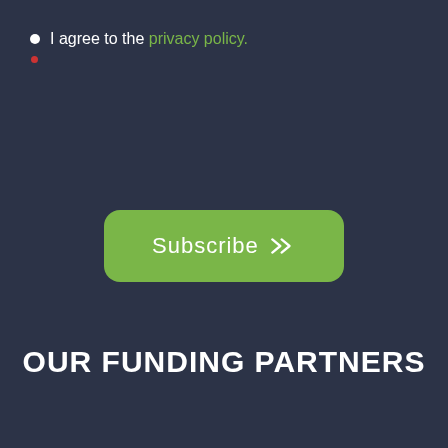I agree to the privacy policy.
[Figure (other): Subscribe button with green rounded rectangle background and double chevron arrows]
OUR FUNDING PARTNERS